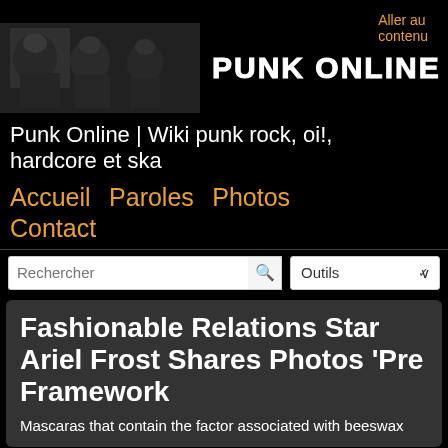Aller au contenu
[Figure (photo): Black and white photo of punk band members with instruments, site logo banner reading PUNK ONLINE]
Punk Online | Wiki punk rock, oi!, hardcore et ska
Accueil   Paroles   Photos   Contact
Rechercher / Outils
Fashionable Relations Star Ariel Frost Shares Photos 'Pre Framework
Mascaras that contain the factor associated with beeswax